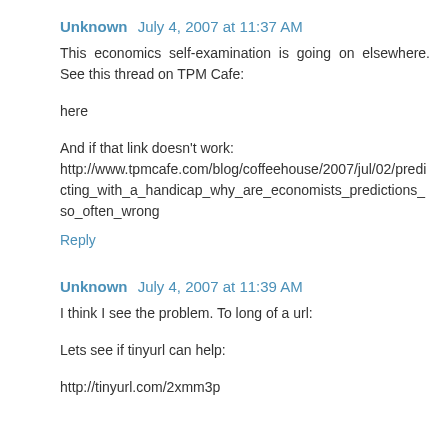Unknown July 4, 2007 at 11:37 AM
This economics self-examination is going on elsewhere. See this thread on TPM Cafe:
here
And if that link doesn't work: http://www.tpmcafe.com/blog/coffeehouse/2007/jul/02/predicting_with_a_handicap_why_are_economists_predictions_so_often_wrong
Reply
Unknown July 4, 2007 at 11:39 AM
I think I see the problem. To long of a url:
Lets see if tinyurl can help:
http://tinyurl.com/2xmm3p